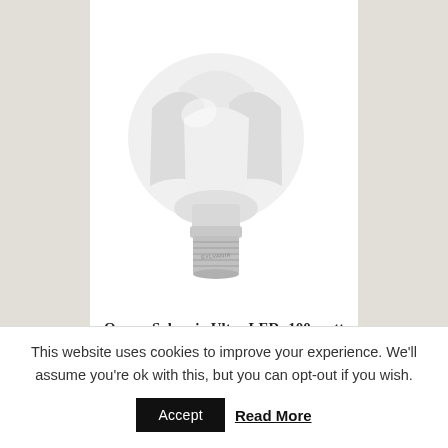[Figure (photo): Photo of an Osram Sylvania Ultra LED bulb (100-watt equivalent), shown at an angle with white plastic heat sink fins visible, silver screw base at bottom right, on a white background.]
Osram Sylvania Ultra LED: 100-watt Equivalent Bulb
This website uses cookies to improve your experience. We'll assume you're ok with this, but you can opt-out if you wish.
Accept   Read More